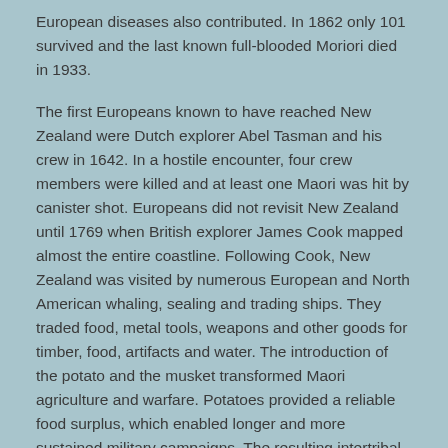European diseases also contributed. In 1862 only 101 survived and the last known full-blooded Moriori died in 1933.
The first Europeans known to have reached New Zealand were Dutch explorer Abel Tasman and his crew in 1642. In a hostile encounter, four crew members were killed and at least one Maori was hit by canister shot. Europeans did not revisit New Zealand until 1769 when British explorer James Cook mapped almost the entire coastline. Following Cook, New Zealand was visited by numerous European and North American whaling, sealing and trading ships. They traded food, metal tools, weapons and other goods for timber, food, artifacts and water. The introduction of the potato and the musket transformed Maori agriculture and warfare. Potatoes provided a reliable food surplus, which enabled longer and more sustained military campaigns. The resulting intertribal Musket Wars encompassed over 600 battles between 1801 and 1840, killing 30,000–40,000 Maori. From the early 19th century, Christian missionaries began to settle New Zealand, eventually converting most of the Maori population. The Maori population declined to around 40 percent of its pre-contact level during the